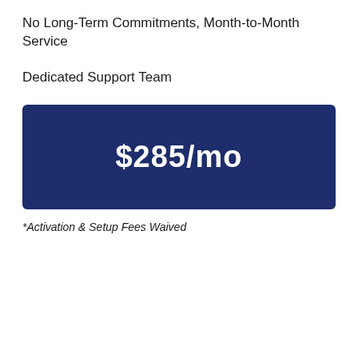No Long-Term Commitments, Month-to-Month Service
Dedicated Support Team
[Figure (other): Dark navy blue price banner displaying $285/mo in large bold white text]
*Activation & Setup Fees Waived